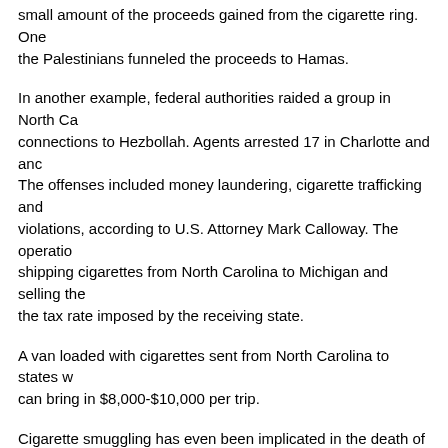small amount of the proceeds gained from the cigarette ring. One of the Palestinians funneled the proceeds to Hamas.
In another example, federal authorities raided a group in North Ca connections to Hezbollah. Agents arrested 17 in Charlotte and anc The offenses included money laundering, cigarette trafficking and violations, according to U.S. Attorney Mark Calloway. The operatio shipping cigarettes from North Carolina to Michigan and selling the the tax rate imposed by the receiving state.
A van loaded with cigarettes sent from North Carolina to states w can bring in $8,000-$10,000 per trip.
Cigarette smuggling has even been implicated in the death of U.S. Chris Stevens, based on an investigation from the International Co Investigative Journalists. Researchers discovered a link between ci smuggling and al-Qaida in the Islamic Maghreb (AQIM). An affiliate al-Sharia, was thought to have killed Stevens in Benghazi. Accordin Nations Office on Drugs and Crime, 15 percent of cigarettes in Afr off the black market. In Libya, that number jumps to approximately